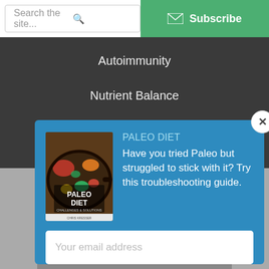Search the site...
Subscribe
Autoimmunity
Nutrient Balance
[Figure (screenshot): Popup modal with blue background showing a Paleo Diet book cover, promotional text, email input field, and Download Now button]
PALEO DIET
Have you tried Paleo but struggled to stick with it? Try this troubleshooting guide.
Your email address
Download Now